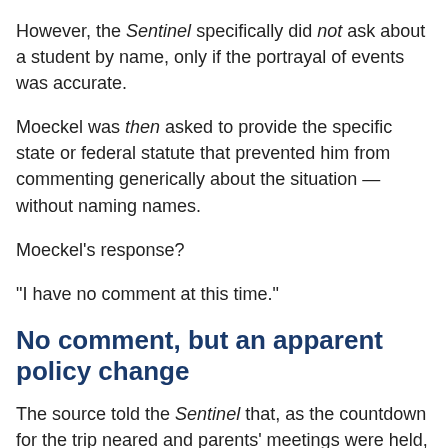However, the Sentinel specifically did not ask about a student by name, only if the portrayal of events was accurate.
Moeckel was then asked to provide the specific state or federal statute that prevented him from commenting generically about the situation — without naming names.
Moeckel's response?
“I have no comment at this time.”
No comment, but an apparent policy change
The source told the Sentinel that, as the countdown for the trip neared and parents’ meetings were held, no room assignments were disclosed prior to arrival in Costa Rica, even though school officials should have anticipated resistance by assigning a